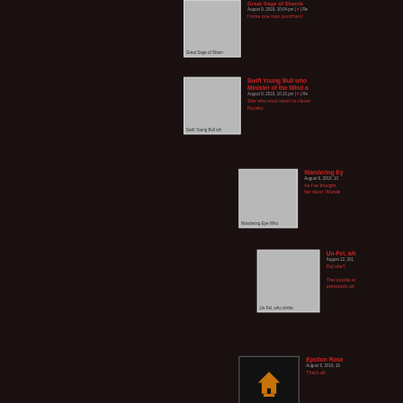[Figure (illustration): Avatar placeholder image for Great Sage of Shamb, grey square with label]
Great Sage of Shamb
August 9, 2019, 10:04 pm | # | Re
I'mma one man punch'em!
[Figure (illustration): Avatar placeholder image for Swift Young Bull wh, grey square with label]
Swift Young Bull who Minister of the Wind a
August 9, 2019, 10:15 pm | # | Re
She who must resort to clever Royalty.
[Figure (illustration): Avatar placeholder image for Wandering Eye Who, grey square with label]
Wandering Ey
August 9, 2019, 10
As I've thought, her favor. Wonde
[Figure (illustration): Avatar placeholder image for Un-Fel, who drinks, grey square with label]
Un-Fel, wh
August 12, 201
Did she?
The trouble w previously ob
[Figure (illustration): Avatar image for Epsilon Rose with bird/thunderbird logo on dark background]
Epsilon Rose
August 9, 2019, 10
That's alr